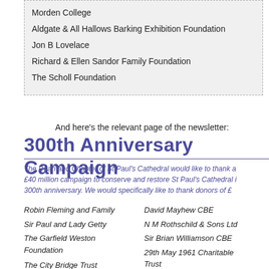Morden College
Aldgate & All Hallows Barking Exhibition Foundation
Jon B Lovelace
Richard & Ellen Sandor Family Foundation
The Scholl Foundation
And here's the relevant page of the newsletter:
300th Anniversary Campaign
The Dean and Chapter of St Paul's Cathedral would like to thank a £40 million campaign to conserve and restore St Paul's Cathedral i 300th anniversary. We would specifically like to thank donors of £
Robin Fleming and Family
Sir Paul and Lady Getty
The Garfield Weston Foundation
The City Bridge Trust
The St Paul's Cathedral Trust in America
David Mayhew CBE
N M Rothschild & Sons Ltd
Sir Brian Williamson CBE
29th May 1961 Charitable Trust
Dr Yury Beylin
Brunswick Group